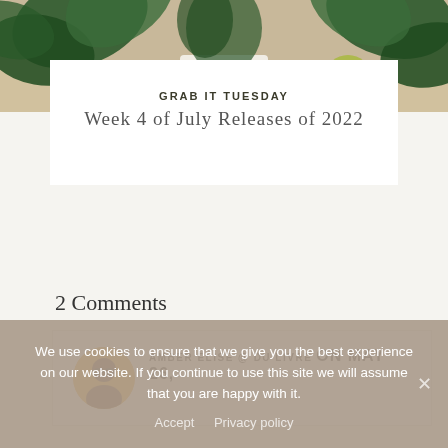[Figure (photo): Top portion of a decorative photo showing green tropical plant leaves against a warm-toned background]
GRAB IT TUESDAY
Week 4 of July Releases of 2022
2 Comments
AMBER ELISE @ DU LIVRE ON MAY 26,
We use cookies to ensure that we give you the best experience on our website. If you continue to use this site we will assume that you are happy with it.
Accept   Privacy policy